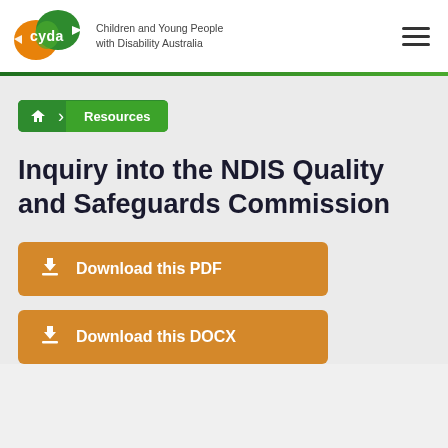[Figure (logo): CYDA logo — orange and green speech bubble shape with 'cyda' text, alongside 'Children and Young People with Disability Australia' text]
Inquiry into the NDIS Quality and Safeguards Commission
Resources (breadcrumb navigation)
Download this PDF
Download this DOCX